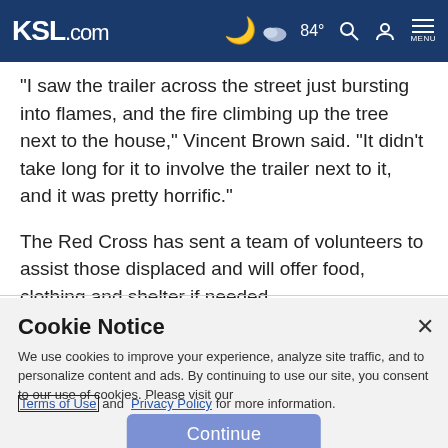KSL.com  84°  MENU
"I saw the trailer across the street just bursting into flames, and the fire climbing up the tree next to the house," Vincent Brown said. "It didn't take long for it to involve the trailer next to it, and it was pretty horrific."
The Red Cross has sent a team of volunteers to assist those displaced and will offer food, clothing and shelter if needed.
Cookie Notice
We use cookies to improve your experience, analyze site traffic, and to personalize content and ads. By continuing to use our site, you consent to our use of cookies. Please visit our Terms of Use and Privacy Policy for more information.
Continue